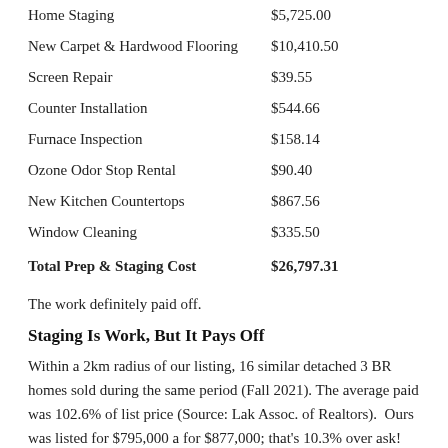| Item | Cost |
| --- | --- |
| Home Staging | $5,725.00 |
| New Carpet & Hardwood Flooring | $10,410.50 |
| Screen Repair | $39.55 |
| Counter Installation | $544.66 |
| Furnace Inspection | $158.14 |
| Ozone Odor Stop Rental | $90.40 |
| New Kitchen Countertops | $867.56 |
| Window Cleaning | $335.50 |
| Total Prep & Staging Cost | $26,797.31 |
The work definitely paid off.
Staging Is Work, But It Pays Off
Within a 2km radius of our listing, 16 similar detached 3 BR homes sold during the same period (Fall 2021). The average paid was 102.6% of list price (Source: Lak Assoc. of Realtors). Ours was listed for $795,000 a for $877,000; that's 10.3% over ask! Had we not staged